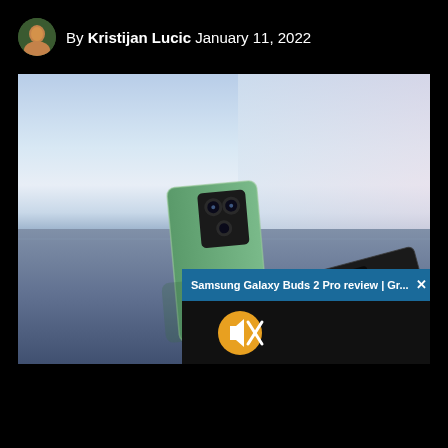By Kristijan Lucic  January 11, 2022
[Figure (photo): Two smartphones (one green, one black) shown from the back with camera modules visible, floating above a reflective surface with a blue-grey sky horizon background. An overlay popup shows 'Samsung Galaxy Buds 2 Pro review | Gr...' with a mute button on a dark video area.]